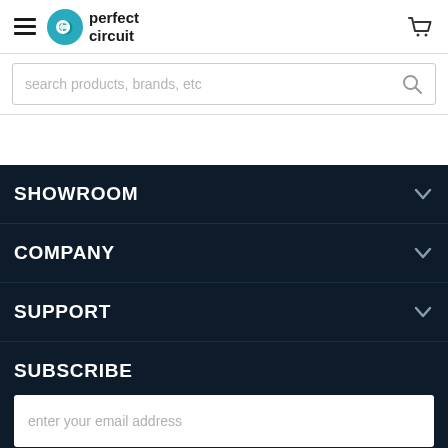perfect circuit — navigation header with hamburger menu and cart icon
search products, brands, etc
SHOWROOM
COMPANY
SUPPORT
SUBSCRIBE
enter your email address